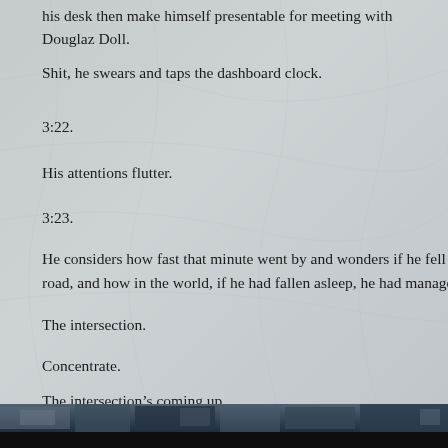his desk then make himself presentable for meeting with Douglaz Doll.
Shit, he swears and taps the dashboard clock.
3:22.
His attentions flutter.
3:23.
He considers how fast that minute went by and wonders if he fell asleep on the road, and how in the world, if he had fallen asleep, he had managed not to hi…
The intersection.
Concentrate.
The intersection's coming up.
Pay attention.
“Fiction is fact distilled into truth” – Edward Albee
[Figure (photo): A dark photographic strip showing a street or urban scene, at the bottom of the page.]